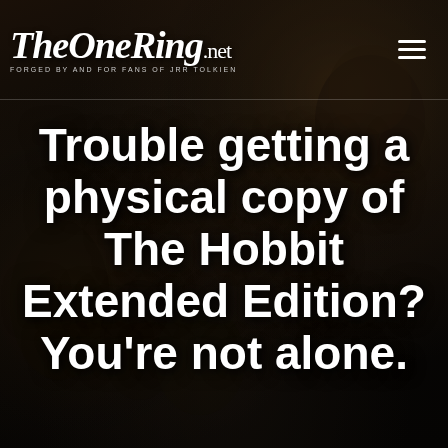TheOneRing.net — FORGED BY AND FOR FANS OF JRR TOLKIEN
Trouble getting a physical copy of The Hobbit Extended Edition? You're not alone.
[Figure (photo): Dark cinematic background showing silhouetted fantasy characters from The Hobbit/Lord of the Rings films, with a young hobbit face visible on the right side, moody dark fantasy atmosphere]